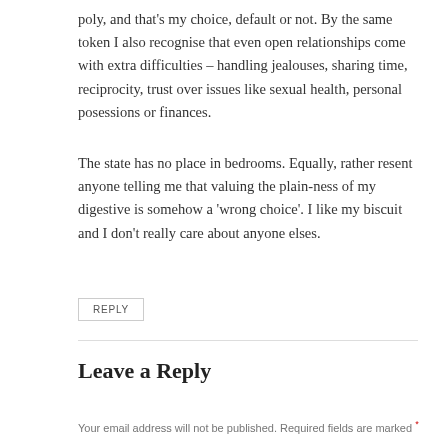poly, and that’s my choice, default or not. By the same token I also recognise that even open relationships come with extra difficulties – handling jealouses, sharing time, reciprocity, trust over issues like sexual health, personal posessions or finances.
The state has no place in bedrooms. Equally, rather resent anyone telling me that valuing the plain-ness of my digestive is somehow a ‘wrong choice’. I like my biscuit and I don’t really care about anyone elses.
REPLY
Leave a Reply
Your email address will not be published. Required fields are marked *